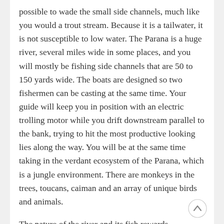possible to wade the small side channels, much like you would a trout stream. Because it is a tailwater, it is not susceptible to low water. The Parana is a huge river, several miles wide in some places, and you will mostly be fishing side channels that are 50 to 150 yards wide. The boats are designed so two fishermen can be casting at the same time. Your guide will keep you in position with an electric trolling motor while you drift downstream parallel to the bank, trying to hit the most productive looking lies along the way. You will be at the same time taking in the verdant ecosystem of the Parana, which is a jungle environment. There are monkeys in the trees, toucans, caiman and an array of unique birds and animals.
The nature of the river and its fish rewards competent casters, so it is advisable that you practice your accuracy with big, wind resistant flies.